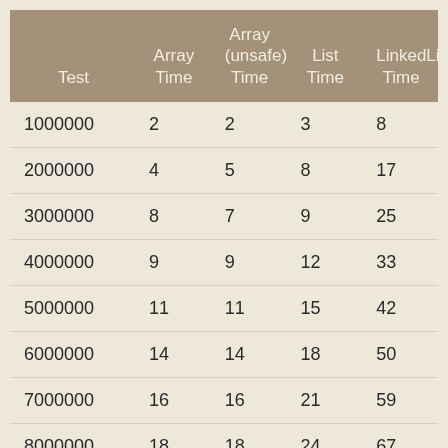| Test | Array Time | Array (unsafe) Time | List Time | LinkedList Time |
| --- | --- | --- | --- | --- |
| 1000000 | 2 | 2 | 3 | 8 |
| 2000000 | 4 | 5 | 8 | 17 |
| 3000000 | 8 | 7 | 9 | 25 |
| 4000000 | 9 | 9 | 12 | 33 |
| 5000000 | 11 | 11 | 15 | 42 |
| 6000000 | 14 | 14 | 18 | 50 |
| 7000000 | 16 | 16 | 21 | 59 |
| 8000000 | 18 | 18 | 24 | 67 |